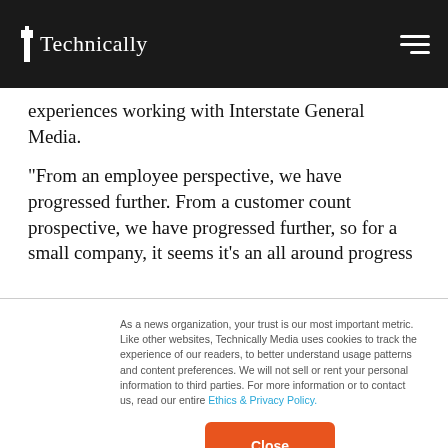Technically
experiences working with Interstate General Media.
“From an employee perspective, we have progressed further. From a customer count prospective, we have progressed further, so for a small company, it seems it’s an all around progress
As a news organization, your trust is our most important metric. Like other websites, Technically Media uses cookies to track the experience of our readers, to better understand usage patterns and content preferences. We will not sell or rent your personal information to third parties. For more information or to contact us, read our entire Ethics & Privacy Policy.
Close